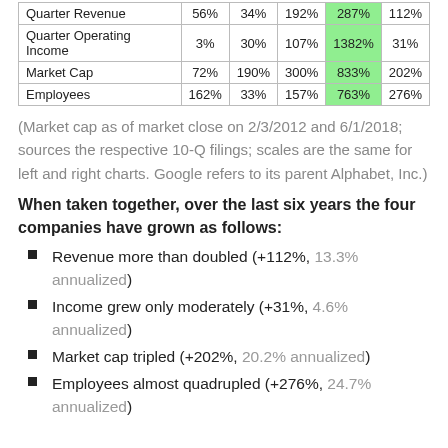|  | Amazon | Apple | Facebook | Google | Aggregate |
| --- | --- | --- | --- | --- | --- |
| Quarter Revenue | 56% | 34% | 192% | 287% | 112% |
| Quarter Operating Income | 3% | 30% | 107% | 1382% | 31% |
| Market Cap | 72% | 190% | 300% | 833% | 202% |
| Employees | 162% | 33% | 157% | 763% | 276% |
(Market cap as of market close on 2/3/2012 and 6/1/2018; sources the respective 10-Q filings; scales are the same for left and right charts. Google refers to its parent Alphabet, Inc.)
When taken together, over the last six years the four companies have grown as follows:
Revenue more than doubled (+112%, 13.3% annualized)
Income grew only moderately (+31%, 4.6% annualized)
Market cap tripled (+202%, 20.2% annualized)
Employees almost quadrupled (+276%, 24.7% annualized)